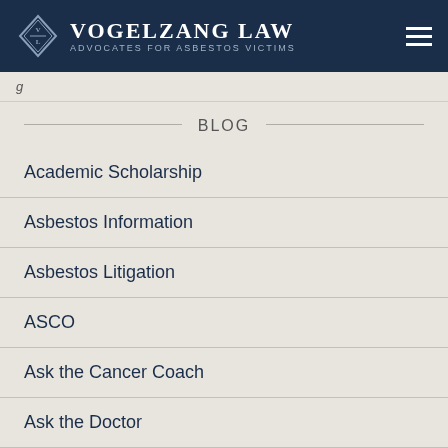VOGELZANG LAW — ADVOCATES FOR ASBESTOS VICTIMS
BLOG
Academic Scholarship
Asbestos Information
Asbestos Litigation
ASCO
Ask the Cancer Coach
Ask the Doctor
Caregivers
Clinical Trials
COVID-19
Events